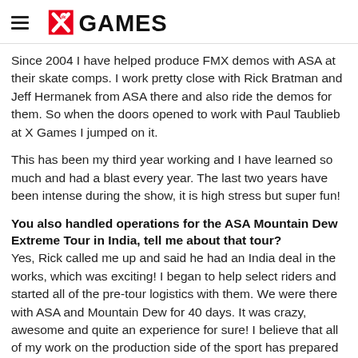X GAMES
Since 2004 I have helped produce FMX demos with ASA at their skate comps. I work pretty close with Rick Bratman and Jeff Hermanek from ASA there and also ride the demos for them. So when the doors opened to work with Paul Taublieb at X Games I jumped on it.
This has been my third year working and I have learned so much and had a blast every year. The last two years have been intense during the show, it is high stress but super fun!
You also handled operations for the ASA Mountain Dew Extreme Tour in India, tell me about that tour?
Yes, Rick called me up and said he had an India deal in the works, which was exciting! I began to help select riders and started all of the pre-tour logistics with them. We were there with ASA and Mountain Dew for 40 days. It was crazy, awesome and quite an experience for sure! I believe that all of my work on the production side of the sport has prepared me to help run logistics smoothly and professionally, especially with so many one-off demo teams out there now. We went there and killed it!
Who did you have riding it?
Well, the tour was so long I really tried to help pick guys with Rick that would get along well and be mellow